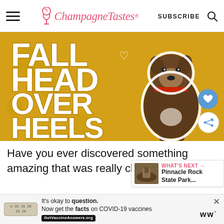ChampagneTastes | SUBSCRIBE
[Figure (photo): Advertisement or promotional image with golden/yellow background and large white bold text reading 'FALL HEAD OVER HEELS' with heart icons, and a brown/brindle dog (pit bull type) wearing a red collar standing on the right side.]
Have you ever discovered something amazing that was really close to home?
[Figure (photo): What's Next thumbnail showing a rocky landscape, labeled 'Pinnacle Rock State Park...']
[Figure (infographic): Ad bar at bottom: 'It's okay to question. Now get the facts on COVID-19 vaccines' with GetVaccineAnswers.org link]